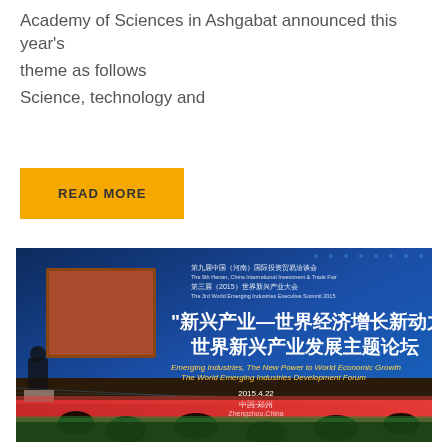Academy of Sciences in Ashgabat announced this year's theme as follows
Science, technology and
READ MORE
[Figure (photo): A conference hall with a large blue banner/screen displaying Chinese text and English text: 'Emerging Industries, The New Power to World Economic Growth - The World Emerging Industries Development Forum', with date 2015.4.22, audience seated in foreground.]